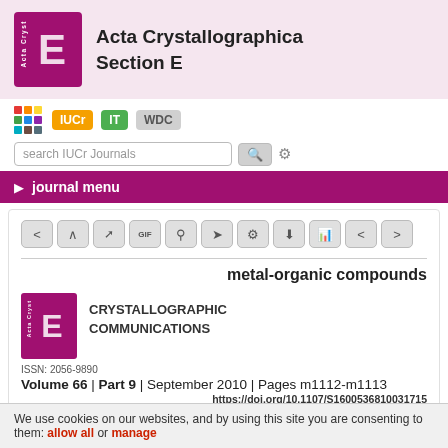Acta Crystallographica Section E
[Figure (logo): Acta Cryst E journal logo — purple square with large E letter]
[Figure (logo): Navigation bar with colored grid icon, IUCr button (orange), IT button (green), WDC button (gray)]
[Figure (screenshot): Search bar with search IUCr Journals input, search button, and gear icon]
journal menu
[Figure (screenshot): Navigation icon buttons row: back, up, share, GIF, user, send, settings, download, chart, share, forward]
metal-organic compounds
[Figure (logo): Small Acta Cryst E journal logo]
CRYSTALLOGRAPHIC COMMUNICATIONS
ISSN: 2056-9890
Volume 66 | Part 9 | September 2010 | Pages m1112-m1113
https://doi.org/10.1107/S1600536810031715
OPEN ACCESS
We use cookies on our websites, and by using this site you are consenting to them: allow all or manage